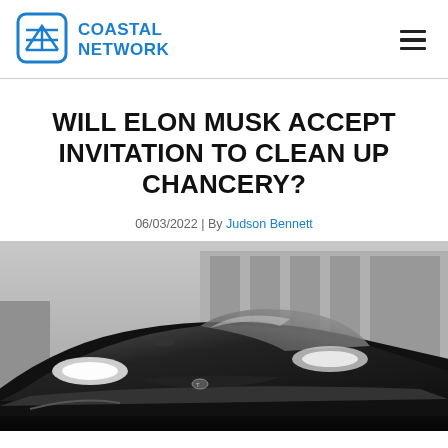COASTAL NETWORK
WILL ELON MUSK ACCEPT INVITATION TO CLEAN UP CHANCERY?
06/03/2022 | By Judson Bennett
[Figure (photo): Black and white photograph of a Tesla car from the front, showing the hood, headlights and windshield, with a building visible in the background.]